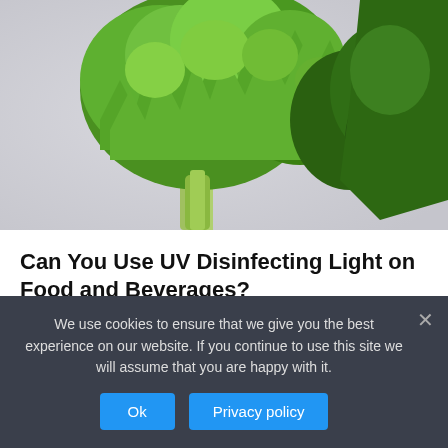[Figure (photo): Close-up photo of fresh green parsley/herb bunch against a light grey background]
Can You Use UV Disinfecting Light on Food and Beverages?
August 27, 2022   Closed
We use cookies to ensure that we give you the best experience on our website. If you continue to use this site we will assume that you are happy with it.
Ok   Privacy policy